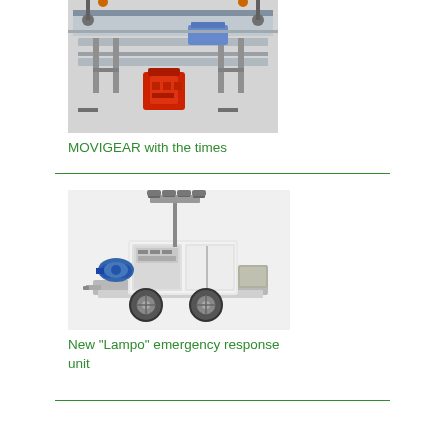[Figure (photo): Industrial conveyor belt system with red motor unit (MOVIGEAR) attached underneath a metal frame conveyor with rollers and track sections]
MOVIGEAR with the times
[Figure (photo): Mobile emergency response unit trailer with generator, pump, elevated light tower with multiple lights, mounted on a double-axle wheeled trailer]
New "Lampo" emergency response unit